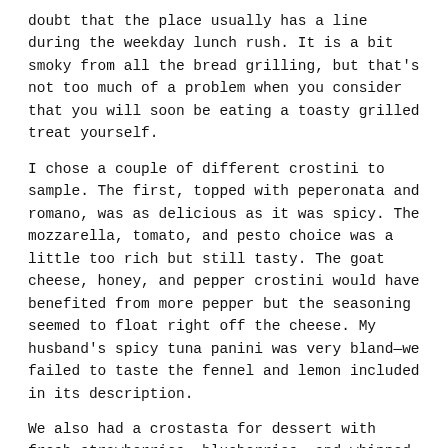doubt that the place usually has a line during the weekday lunch rush. It is a bit smoky from all the bread grilling, but that's not too much of a problem when you consider that you will soon be eating a toasty grilled treat yourself.
I chose a couple of different crostini to sample. The first, topped with peperonata and romano, was as delicious as it was spicy. The mozzarella, tomato, and pesto choice was a little too rich but still tasty. The goat cheese, honey, and pepper crostini would have benefited from more pepper but the seasoning seemed to float right off the cheese. My husband's spicy tuna panini was very bland—we failed to taste the fennel and lemon included in its description.
We also had a crostasta for dessert with fresh strawberries, blueberries, and whipped cream. It was delightful even though I don't usually like blueberries. The balance between the ingredients and the hard crust was perfect in this tart-like treat.
We may not have fully enjoyed all of our selections but the ones that we did were definitely enough to get me back to Toast again. Besides, I haven't tried a tramezzini yet!